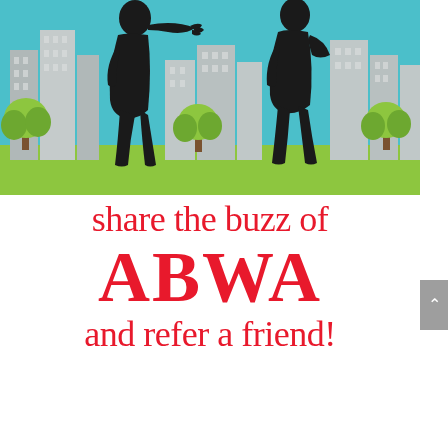[Figure (illustration): Two female silhouettes in black against a cityscape background with teal sky, gray buildings, green trees and grass. One silhouette gestures with hand extended toward the other who stands with hand on hip.]
share the buzz of ABWA and refer a friend!